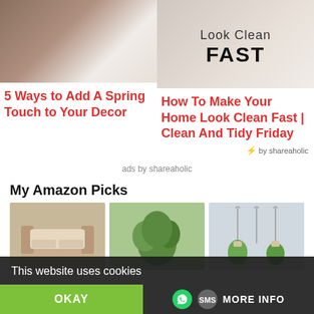[Figure (photo): Photo of a chair with white fluffy cushion and decorative pillows in a home decor setting]
[Figure (photo): Home cleaning tips image with text 'Look Clean FAST' on light background]
5 Ways to Add A Spring Touch to Your Decor
How To Make Your Home Look Clean Fast | Clean And Tidy Friday
by shareaholic
ads by shareaholic
My Amazon Picks
[Figure (photo): Outdoor sectional sofa with cream/beige cushions]
[Figure (photo): Artificial green plant/faux rosemary arrangement]
[Figure (photo): Macrame plant hangers with hanging plants]
This website uses cookies
OKAY
MORE INFO